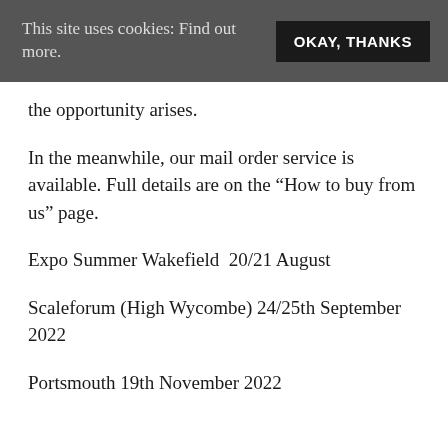This site uses cookies: Find out more. OKAY, THANKS
the opportunity arises.
In the meanwhile, our mail order service is available. Full details are on the “How to buy from us” page.
Expo Summer Wakefield  20/21 August
Scaleforum (High Wycombe) 24/25th September 2022
Portsmouth 19th November 2022